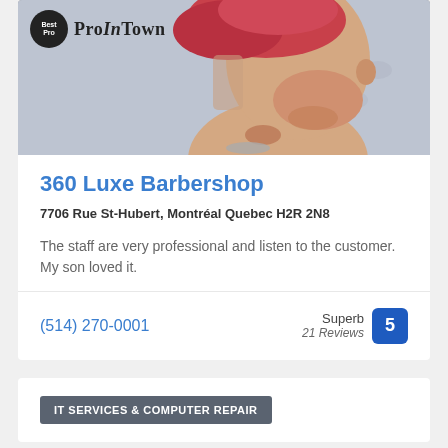[Figure (photo): Photo of a man with red/pink hair in profile view, with a tattoo on his neck. Best Pro In Town logo overlay in top left.]
360 Luxe Barbershop
7706 Rue St-Hubert, Montréal Quebec H2R 2N8
The staff are very professional and listen to the customer. My son loved it.
(514) 270-0001
Superb 21 Reviews 5
IT SERVICES & COMPUTER REPAIR